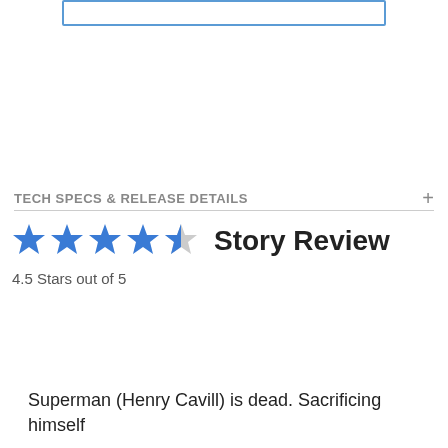[Figure (other): Blue-bordered input box at top of page]
TECH SPECS & RELEASE DETAILS
Story Review
4.5 Stars out of 5
Superman (Henry Cavill) is dead. Sacrificing himself